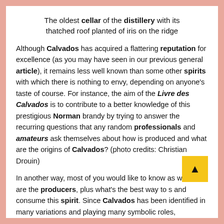The oldest cellar of the distillery with its thatched roof planted of iris on the ridge
Although Calvados has acquired a flattering reputation for excellence (as you may have seen in our previous general article), it remains less well known than some other spirits with which there is nothing to envy, depending on anyone's taste of course. For instance, the aim of the Livre des Calvados is to contribute to a better knowledge of this prestigious Norman brandy by trying to answer the recurring questions that any random professionals and amateurs ask themselves about how is produced and what are the origins of Calvados? (photo credits: Christian Drouin)
In another way, most of you would like to know as well who are the producers, plus what's the best way to s and consume this spirit. Since Calvados has been identified in many variations and playing many symbolic roles, essentially in social, political and economic